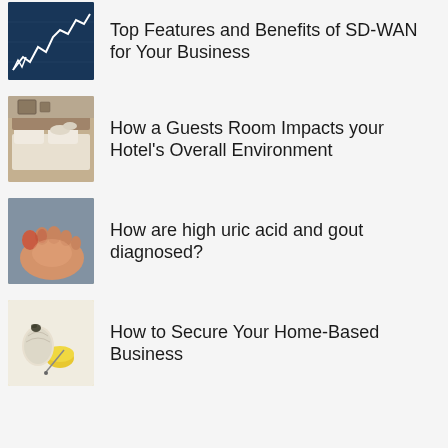[Figure (photo): Stock market chart with white line graph on dark blue background]
Top Features and Benefits of SD-WAN for Your Business
[Figure (photo): Hotel guest room with bed and towels]
How a Guests Room Impacts your Hotel’s Overall Environment
[Figure (photo): Foot with gout inflammation, reddish skin]
How are high uric acid and gout diagnosed?
[Figure (photo): Home-based business setup with small items on white surface]
How to Secure Your Home-Based Business